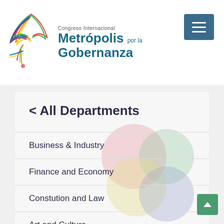[Figure (logo): Congreso Internacional Metrópolis por la Gobernanza logo with colorful bird/flame graphic and teal text]
< All Departments
Business & Industry
Finance and Economy
Constution and Law
Art and Culture
Roads and Transport
Housing and Land